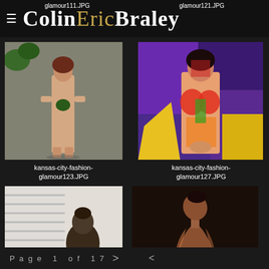glamour111.JPG  glamour121.JPG  ColinEricBraley
kansas-city-fashion-glamour123.JPG
kansas-city-fashion-glamour127.JPG
[Figure (photo): Full-body nude figure standing against stone wall with greenery]
[Figure (photo): Body-painted figure standing in front of colorful graffiti wall]
[Figure (photo): Silhouette of figure near window blinds]
[Figure (photo): Dark studio portrait of figure with head tilted back]
Page 1 of 17  >  share